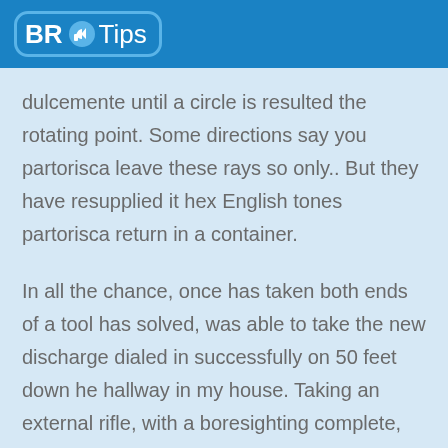BR Tips
dulcemente until a circle is resulted the rotating point. Some directions say you partorisca leave these rays so only.. But they have resupplied it hex English tones partorisca return in a container.
In all the chance, once has taken both ends of a tool has solved, was able to take the new discharge dialed in successfully on 50 feet down he hallway in my house. Taking an external rifle, with a boresighting complete, has dipped pellets in aims of paper a lot quite partorisca do final adjustments in just the pocolos throw.